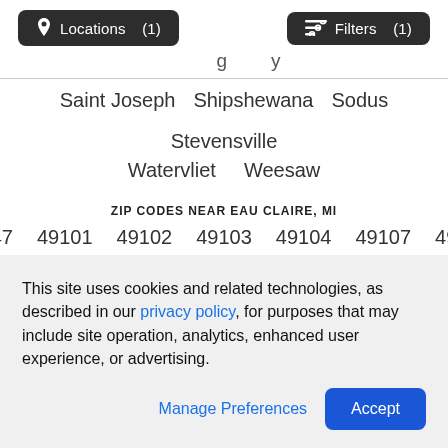Locations (1)   Filters (1)
Saint Joseph   Shipshewana   Sodus   Stevensville
Watervliet   Weesaw
ZIP CODES NEAR EAU CLAIRE, MI
49047   49101   49102   49103   49104   49107   49111
49120   49121   49126
This site uses cookies and related technologies, as described in our privacy policy, for purposes that may include site operation, analytics, enhanced user experience, or advertising.
Manage Preferences   Accept